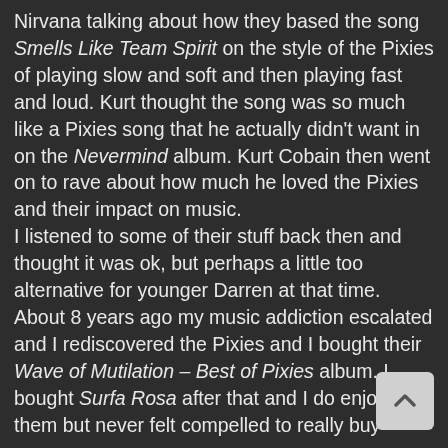Nirvana talking about how they based the song Smells Like Team Spirit on the style of the Pixies of playing slow and soft and then playing fast and loud. Kurt thought the song was so much like a Pixies song that he actually didn't want in on the Nevermind album. Kurt Cobain then went on to rave about how much he loved the Pixies and their impact on music.
I listened to some of their stuff back then and thought it was ok, but perhaps a little too alternative for younger Darren at that time. About 8 years ago my music addiction escalated and I rediscovered the Pixies and I bought their Wave of Mutilation – Best of Pixies album. I bought Surfa Rosa after that and I do enjoy them but never felt compelled to really buy more.
After listening to Doolittle multiple times this month I can say that I am a bigger fan although there are still songs that I find uncomfortable. I guess I just didn't have the much teen angst back in the day. Lol. The one thing really stood out was the bass playing of Kim Deal. For the